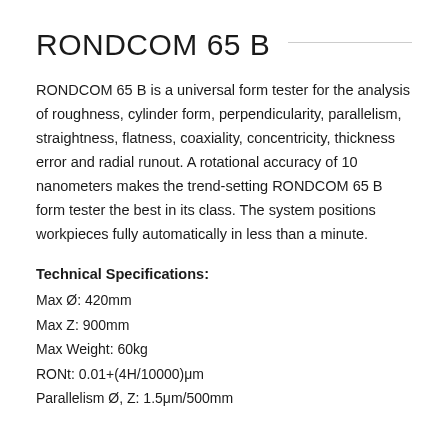RONDCOM 65 B
RONDCOM 65 B is a universal form tester for the analysis of roughness, cylinder form, perpendicularity, parallelism, straightness, flatness, coaxiality, concentricity, thickness error and radial runout. A rotational accuracy of 10 nanometers makes the trend-setting RONDCOM 65 B form tester the best in its class. The system positions workpieces fully automatically in less than a minute.
Technical Specifications:
Max Ø: 420mm
Max Z: 900mm
Max Weight: 60kg
RONt: 0.01+(4H/10000)μm
Parallelism Ø, Z: 1.5μm/500mm